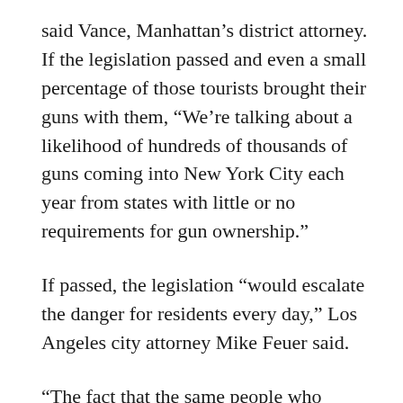said Vance, Manhattan’s district attorney. If the legislation passed and even a small percentage of those tourists brought their guns with them, “We’re talking about a likelihood of hundreds of thousands of guns coming into New York City each year from states with little or no requirements for gun ownership.”
If passed, the legislation “would escalate the danger for residents every day,” Los Angeles city attorney Mike Feuer said.
“The fact that the same people who promote states’ rights and local control would be trying to ramrod this bill through Congress – this bill that undermines states’ rights at every turn, that eviscerates common sense